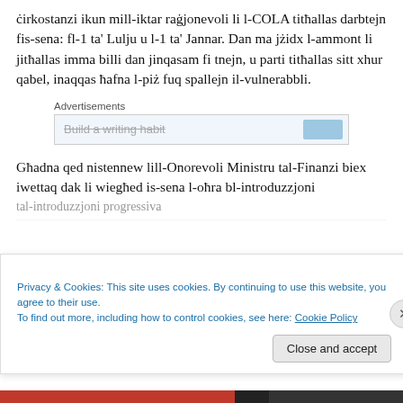ċirkostanzi ikun mill-iktar raġjonevoli li l-COLA titħallas darbtejn fis-sena: fl-1 ta' Lulju u l-1 ta' Jannar. Dan ma jżidx l-ammont li jitħallas imma billi dan jinqasam fi tnejn, u parti titħallas sitt xhur qabel, inaqqas ħafna l-piż fuq spallejn il-vulnerabbli.
[Figure (other): Advertisements section with a partially visible ad box showing 'Build a writing habit' text and a blue button]
Għadna qed nistennew lill-Onorevoli Ministru tal-Finanzi biex iwettaq dak li wiegħed is-sena l-oħra bl-introduzzjoni
[partially visible text cut off]
Privacy & Cookies: This site uses cookies. By continuing to use this website, you agree to their use.
To find out more, including how to control cookies, see here: Cookie Policy
Close and accept